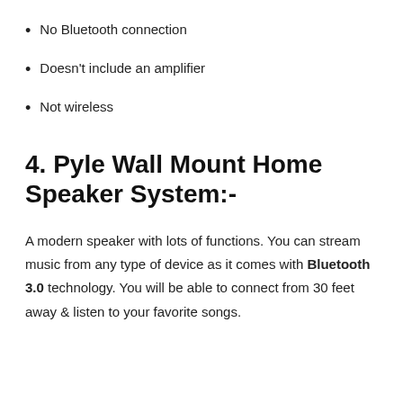No Bluetooth connection
Doesn't include an amplifier
Not wireless
4. Pyle Wall Mount Home Speaker System:-
A modern speaker with lots of functions. You can stream music from any type of device as it comes with Bluetooth 3.0 technology. You will be able to connect from 30 feet away & listen to your favorite songs.